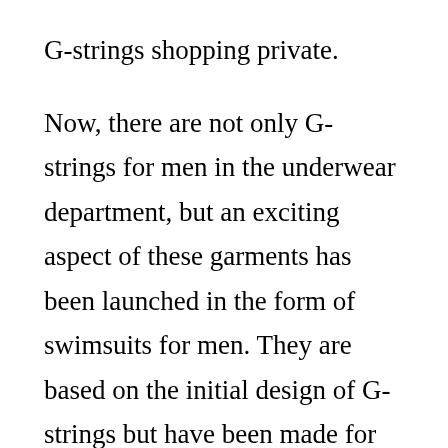G-strings shopping private.
Now, there are not only G-strings for men in the underwear department, but an exciting aspect of these garments has been launched in the form of swimsuits for men. They are based on the initial design of G-strings but have been made for the express use of swimming or tanning in your favorite water sports venue. Granted, these G-strings are not made to be worn at all beaches because they do show a lot of bare skin. Familiar with